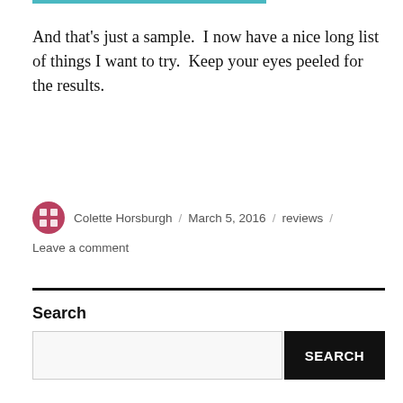And that's just a sample.  I now have a nice long list of things I want to try.  Keep your eyes peeled for the results.
Colette Horsburgh / March 5, 2016 / reviews / Leave a comment
Search